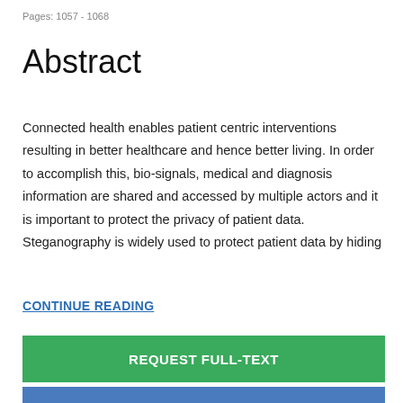Pages: 1057 - 1068
Abstract
Connected health enables patient centric interventions resulting in better healthcare and hence better living. In order to accomplish this, bio-signals, medical and diagnosis information are shared and accessed by multiple actors and it is important to protect the privacy of patient data. Steganography is widely used to protect patient data by hiding
CONTINUE READING
REQUEST FULL-TEXT
CITE